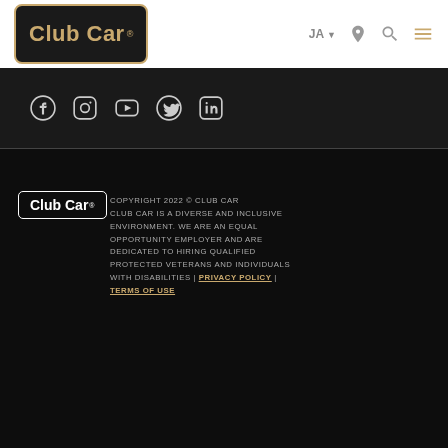Club Car | JA
[Figure (logo): Club Car logo in dark box with gold border and gold text]
[Figure (infographic): Social media icons: Facebook, Instagram, YouTube, Twitter, LinkedIn on dark background]
COPYRIGHT 2022 © CLUB CAR CLUB CAR IS A DIVERSE AND INCLUSIVE ENVIRONMENT. WE ARE AN EQUAL OPPORTUNITY EMPLOYER AND ARE DEDICATED TO HIRING QUALIFIED PROTECTED VETERANS AND INDIVIDUALS WITH DISABILITIES | PRIVACY POLICY | TERMS OF USE